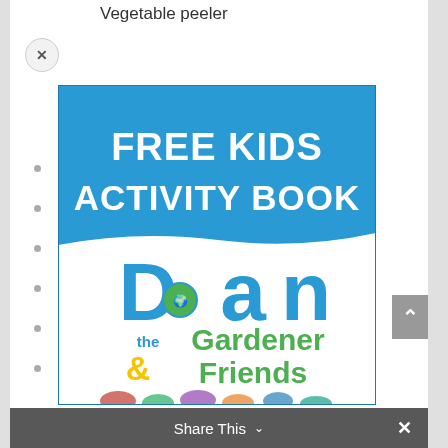Vegetable peeler
[Figure (illustration): Book cover for 'FREE KIDS ACTIVITY BOOK' featuring Dan the Gardener & Friends, with blue top section and white bottom section, colorful logo text in blue and green, with illustrated characters at the bottom]
Share This ∨  ×